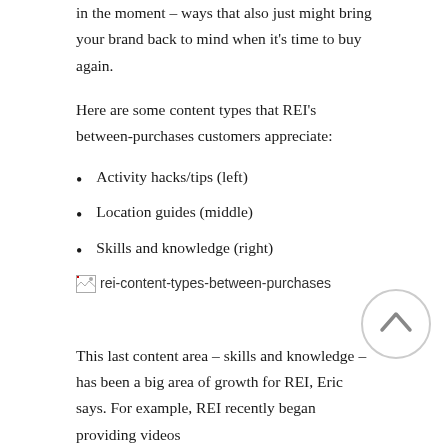in the moment – ways that also just might bring your brand back to mind when it's time to buy again.
Here are some content types that REI's between-purchases customers appreciate:
Activity hacks/tips (left)
Location guides (middle)
Skills and knowledge (right)
[Figure (other): Broken image placeholder labeled 'rei-content-types-between-purchases']
[Figure (other): Circular scroll-to-top button with upward arrow]
This last content area – skills and knowledge – has been a big area of growth for REI, Eric says. For example, REI recently began providing videos